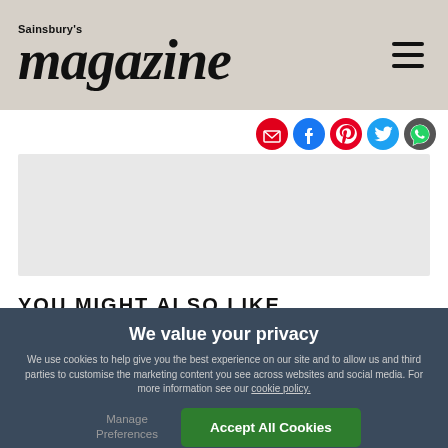Sainsbury's magazine
[Figure (screenshot): Social sharing icons row: email, Facebook, Pinterest, Twitter, WhatsApp]
[Figure (other): Light grey advertisement/content placeholder box]
YOU MIGHT ALSO LIKE
We value your privacy
We use cookies to help give you the best experience on our site and to allow us and third parties to customise the marketing content you see across websites and social media. For more information see our cookie policy.
Manage Preferences
Accept All Cookies